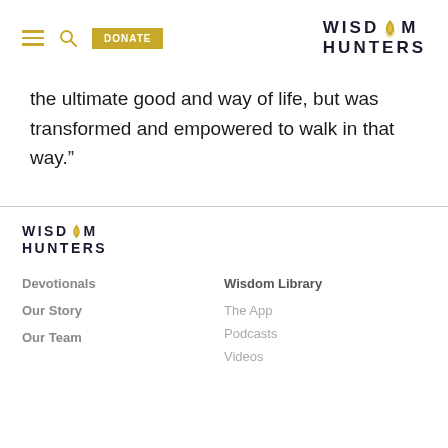WISDOM HUNTERS | DONATE
the ultimate good and way of life, but was transformed and empowered to walk in that way.”
[Figure (logo): Wisdom Hunters logo with flame icon, footer version]
Devotionals
Our Story
Our Team
Wisdom Library
The App
Podcasts
Videos